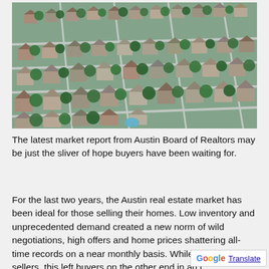[Figure (photo): Aerial view of a suburban neighborhood with rows of houses and trees, taken from above at an angle]
The latest market report from Austin Board of Realtors may be just the sliver of hope buyers have been waiting for.
For the last two years, the Austin real estate market has been ideal for those selling their homes. Low inventory and unprecedented demand created a new norm of wild negotiations, high offers and home prices shattering all-time records on a near monthly basis. While fantastic for sellers, this left buyers on the other end in an impossible situation with overwhelming competition.